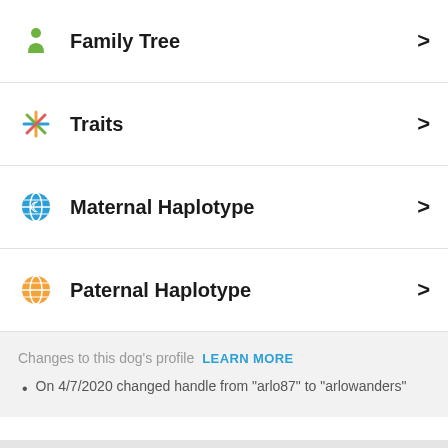Family Tree
Traits
Maternal Haplotype
Paternal Haplotype
Changes to this dog's profile  LEARN MORE
On 4/7/2020 changed handle from "arlo87" to "arlowanders"